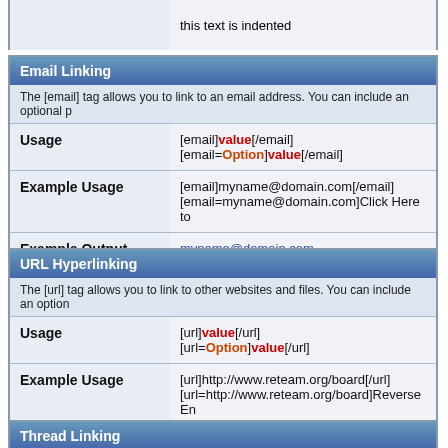| Email Linking |
| --- |
|  | The [email] tag allows you to link to an email address. You can include an optional p |
| Usage | [email]value[/email]
[email=Option]value[/email] |
| Example Usage | [email]myname@domain.com[/email]
[email=myname@domain.com]Click Here to |
| Example Output | myname@domain.com
Click Here to Email Me |
| URL Hyperlinking |
| --- |
|  | The [url] tag allows you to link to other websites and files. You can include an option |
| Usage | [url]value[/url]
[url=Option]value[/url] |
| Example Usage | [url]http://www.reteam.org/board[/url]
[url=http://www.reteam.org/board]Reverse En |
| Example Output | http://www.reteam.org/board
Reverse Engineering Team Board |
Thread Linking